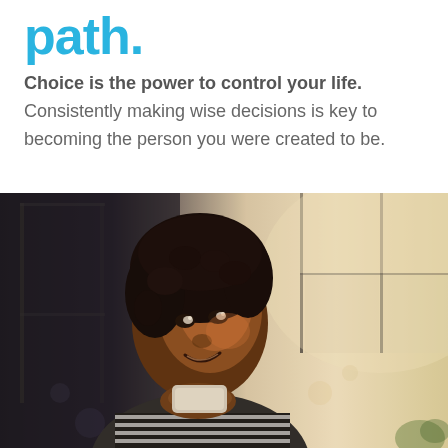path.
Choice is the power to control your life. Consistently making wise decisions is key to becoming the person you were created to be.
[Figure (photo): A smiling young Black woman with curly hair holding a cup, looking upward thoughtfully, seated near a window with soft backlight, wearing a striped shirt.]